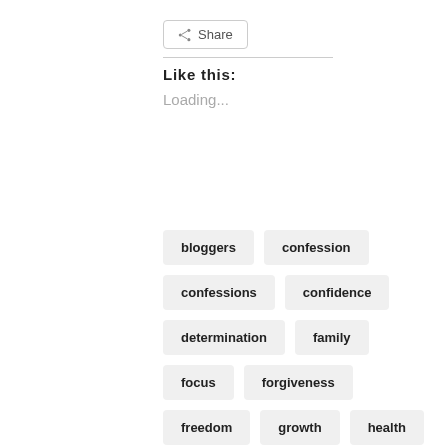Share
Like this:
Loading...
bloggers
confession
confessions
confidence
determination
family
focus
forgiveness
freedom
growth
health